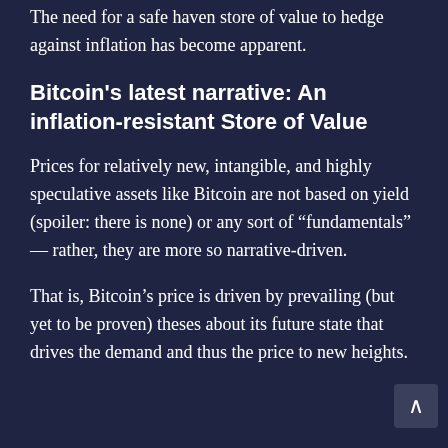investors are getting antsy about holding them. The need for a safe haven store of value to hedge against inflation has become apparent.
Bitcoin's latest narrative: An inflation-resistant Store of Value
Prices for relatively new, intangible, and highly speculative assets like Bitcoin are not based on yield (spoiler: there is none) or any sort of “fundamentals” — rather, they are more so narrative-driven.
That is, Bitcoin’s price is driven by prevailing (but yet to be proven) theses about its future state that drives the demand and thus the price to new heights.